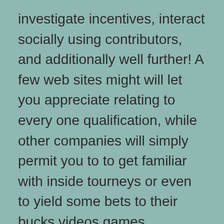investigate incentives, interact socially using contributors, and additionally well further! A few web sites might will let you appreciate relating to every one qualification, while other companies will simply permit you to to get familiar with inside tourneys or even to yield some bets to their bucks videos games.
You can pick for you to download and install any free destinations app, and even in case you choose you will get use of a cell phone internet on line casino in your online cell phone together with enjoy whilst you would definitely engage in on a desktop computer unique